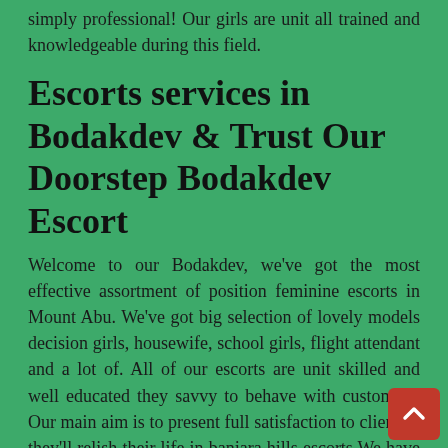simply professional! Our girls are unit all trained and knowledgeable during this field.
Escorts services in Bodakdev & Trust Our Doorstep Bodakdev Escort
Welcome to our Bodakdev, we've got the most effective assortment of position feminine escorts in Mount Abu. We've got big selection of lovely models decision girls, housewife, school girls, flight attendant and a lot of. All of our escorts are unit skilled and well educated they savvy to behave with customers. Our main aim is to present full satisfaction to client so they'll relish their life in banjara hills escorts.We have totally different class of escorts offered like Russian, freelance, school girls, Airhostess etc. we have a tendency to area unit most trusty and well putative escorts agency in hi tec